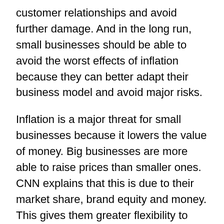customer relationships and avoid further damage. And in the long run, small businesses should be able to avoid the worst effects of inflation because they can better adapt their business model and avoid major risks.
Inflation is a major threat for small businesses because it lowers the value of money. Big businesses are more able to raise prices than smaller ones. CNN explains that this is due to their market share, brand equity and money. This gives them greater flexibility to raise prices as necessary. But the consequences of this increase in prices will ultimately hurt small businesses. They will have to raise prices or cut staff. If this happens, they will experience a drop in profit.